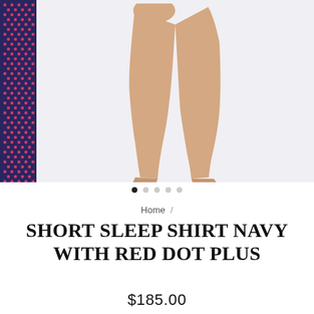[Figure (photo): Product photo showing model's bare legs against light grey background, with navy blue fabric with red polka dot pattern visible on the left side — product is Short Sleep Shirt Navy with Red Dot Plus]
Home /
SHORT SLEEP SHIRT NAVY WITH RED DOT PLUS
$185.00
Shipping calculated at checkout